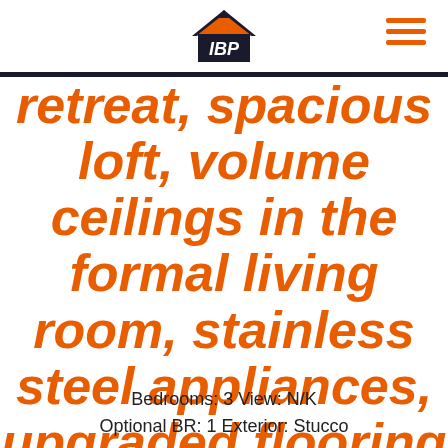[Figure (logo): IBP house logo in orange and dark colors]
retreat, spacious loft, volume ceilings in the formal living room, stainless steel appliances, upgraded flooring and light fixtures, custom p
Bedrooms: 3 View: N/K
Optional BR: 1 Exterior: Stucco